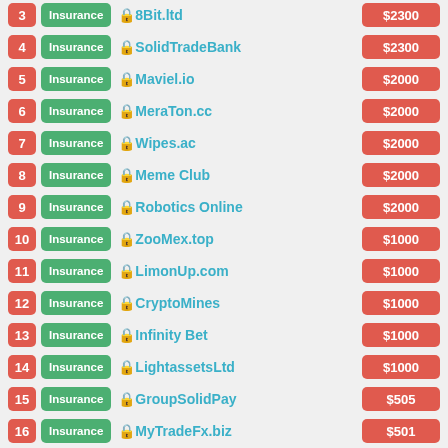3 | Insurance | 8Bit.ltd | $2300
4 | Insurance | SolidTradeBank | $2300
5 | Insurance | Maviel.io | $2000
6 | Insurance | MeraTon.cc | $2000
7 | Insurance | Wipes.ac | $2000
8 | Insurance | Meme Club | $2000
9 | Insurance | Robotics Online | $2000
10 | Insurance | ZooMex.top | $1000
11 | Insurance | LimonUp.com | $1000
12 | Insurance | CryptoMines | $1000
13 | Insurance | Infinity Bet | $1000
14 | Insurance | LightassetsLtd | $1000
15 | Insurance | GroupSolidPay | $505
16 | Insurance | MyTradeFx.biz | $501
17 | Insurance | Paroudax Limited | $500